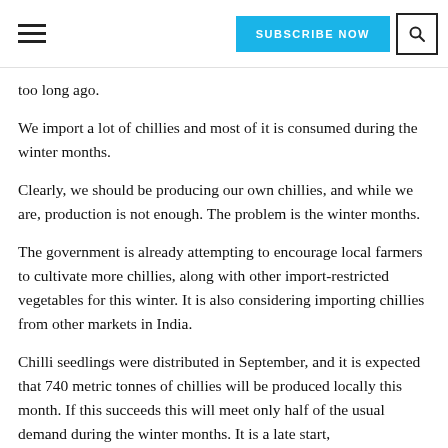SUBSCRIBE NOW | [search icon]
too long ago.
We import a lot of chillies and most of it is consumed during the winter months.
Clearly, we should be producing our own chillies, and while we are, production is not enough. The problem is the winter months.
The government is already attempting to encourage local farmers to cultivate more chillies, along with other import-restricted vegetables for this winter. It is also considering importing chillies from other markets in India.
Chilli seedlings were distributed in September, and it is expected that 740 metric tonnes of chillies will be produced locally this month. If this succeeds this will meet only half of the usual demand during the winter months. It is a late start, but it is not too late though.